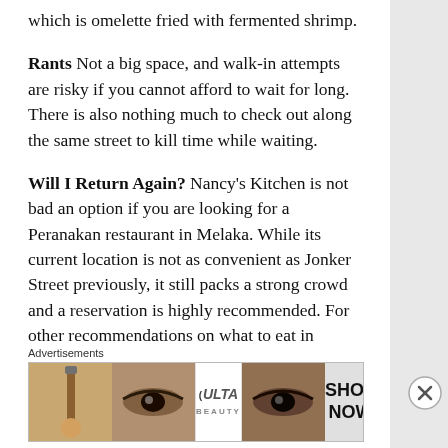which is omelette fried with fermented shrimp.
Rants Not a big space, and walk-in attempts are risky if you cannot afford to wait for long. There is also nothing much to check out along the same street to kill time while waiting.
Will I Return Again? Nancy's Kitchen is not bad an option if you are looking for a Peranakan restaurant in Melaka. While its current location is not as convenient as Jonker Street previously, it still packs a strong crowd and a reservation is highly recommended. For other recommendations on what to eat in Melaka, check out some of our top recommendations shared previously.
TheRantingPanda says:
Advertisements
[Figure (other): Advertisement banner showing beauty/cosmetics ad with lips, makeup brush, eye makeup, ULTA beauty logo, eye makeup, and SHOP NOW text]